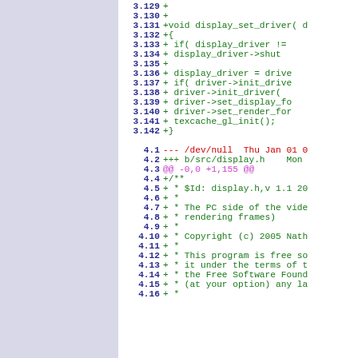[Figure (screenshot): Code diff view showing added lines in a C source file. Left sidebar is light blue-grey. Right panel shows line numbers in bold blue and code in green (added lines), magenta (diff metadata), and red (removed lines). Lines 3.129-3.142 show added C function display_set_driver, lines 4.1-4.16 show start of display.h file diff with copyright comment block.]